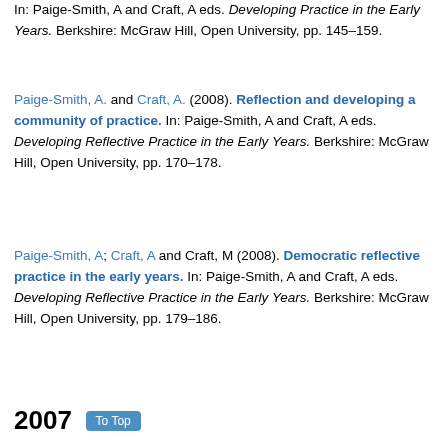In: Paige-Smith, A and Craft, A eds. Developing Practice in the Early Years. Berkshire: McGraw Hill, Open University, pp. 145–159.
Paige-Smith, A. and Craft, A. (2008). Reflection and developing a community of practice. In: Paige-Smith, A and Craft, A eds. Developing Reflective Practice in the Early Years. Berkshire: McGraw Hill, Open University, pp. 170–178.
Paige-Smith, A; Craft, A and Craft, M (2008). Democratic reflective practice in the early years. In: Paige-Smith, A and Craft, A eds. Developing Reflective Practice in the Early Years. Berkshire: McGraw Hill, Open University, pp. 179–186.
2007